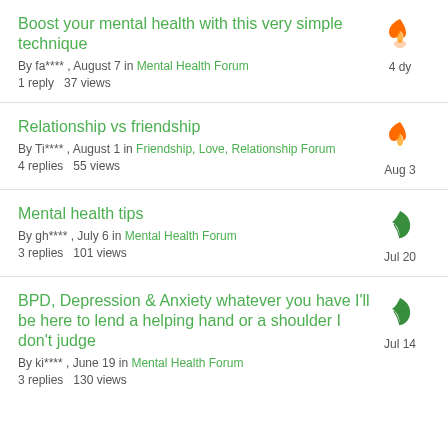Boost your mental health with this very simple technique
By fa****, August 7 in Mental Health Forum
1 reply   37 views
Icon: flame (orange), 4 dy
Relationship vs friendship
By Ti****, August 1 in Friendship, Love, Relationship Forum
4 replies   55 views
Icon: flame (orange), Aug 3
Mental health tips
By gh****, July 6 in Mental Health Forum
3 replies   101 views
Icon: leaf (green), Jul 20
BPD, Depression & Anxiety whatever you have I'll be here to lend a helping hand or a shoulder I don't judge
By ki****, June 19 in Mental Health Forum
3 replies   130 views
Icon: leaf (green), Jul 14